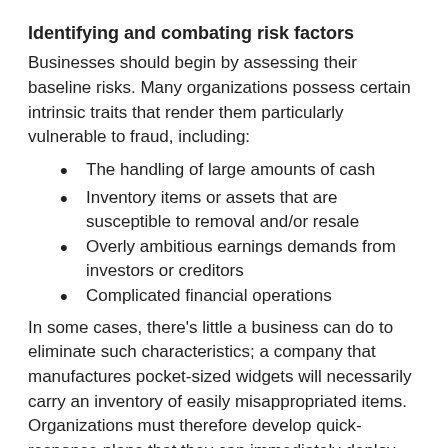Identifying and combating risk factors
Businesses should begin by assessing their baseline risks. Many organizations possess certain intrinsic traits that render them particularly vulnerable to fraud, including:
The handling of large amounts of cash
Inventory items or assets that are susceptible to removal and/or resale
Overly ambitious earnings demands from investors or creditors
Complicated financial operations
In some cases, there’s little a business can do to eliminate such characteristics; a company that manufactures pocket-sized widgets will necessarily carry an inventory of easily misappropriated items. Organizations must therefore develop quick-response plans that they can immediately deploy upon discovery or suspicion of fraud.